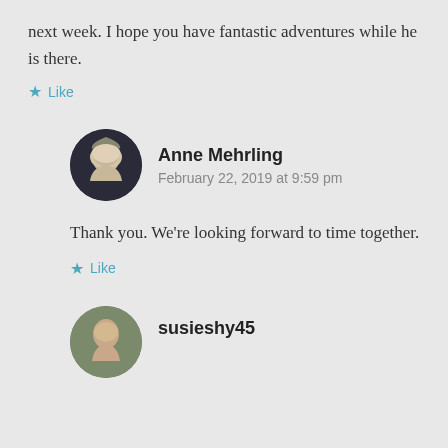next week. I hope you have fantastic adventures while he is there.
★ Like
Anne Mehrling
February 22, 2019 at 9:59 pm
Thank you. We're looking forward to time together.
★ Like
susieshy45